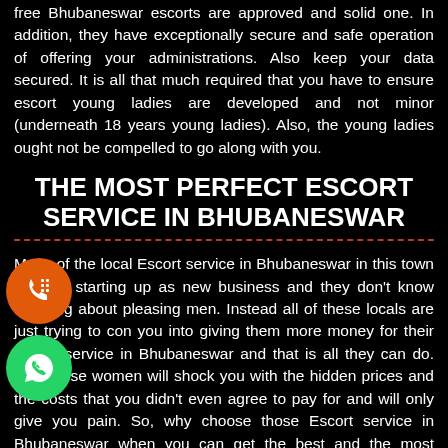free Bhubaneswar escorts are approved and solid one. In addition, they have exceptionally secure and safe operation of offering your administrations. Also keep your data secured. It is all that much required that you have to ensure escort young ladies are developed and not minor (underneath 18 years young ladies). Also, the young ladies ought not be compelled to go along with you.
THE MOST PERFECT ESCORT SERVICE IN BHUBANESWAR
Many of the local Escort service in Bhubaneswar in this town are just starting up as new business and they don't know anything about pleasing men. Instead all of these locals are just trying to con you into giving them more money for their Escort service in Bhubaneswar and that is all they can do. Yes, these women will shock you with the hidden prices and the costs that you didn't even agree to pay for and will only give you pain. So, why choose those Escort service in Bhubaneswar when you can get the best and the most affordable service right by calling my number right now? Well, if you want to know why my Escort service in Bhubaneswar are the best, the very first